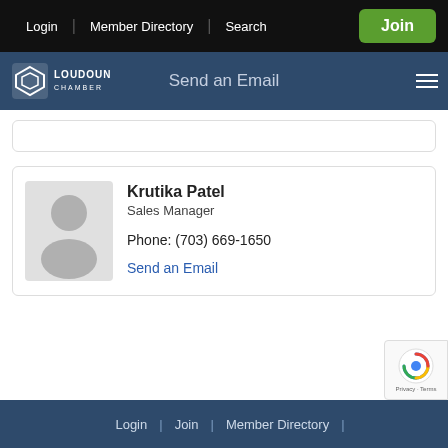Login | Member Directory | Search | Join
[Figure (logo): Loudoun Chamber logo with diamond icon and text LOUDOUN CHAMBER]
Send an Email
Krutika Patel
Sales Manager
Phone: (703) 669-1650
Send an Email
Login | Join | Member Directory |